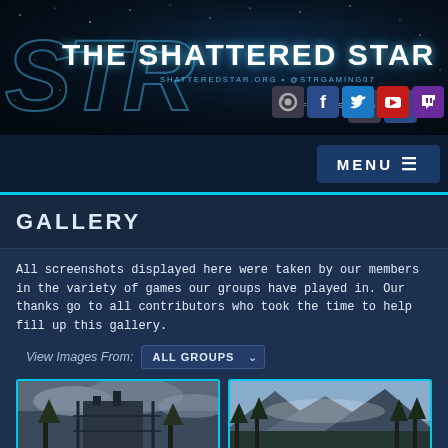[Figure (screenshot): Website header for 'The Shattered Star' with dark starfield background, large STR logo letters, site title, subtitle 'shatteredstar.org • @strgaming07', and social media icons for Steam, Facebook, Twitter, YouTube, and Twitch]
FIND US ON:
[Figure (screenshot): Navigation bar with dark background and MENU button with hamburger icon]
GALLERY
All screenshots displayed here were taken by our members in the variety of games our groups have played in. Our thanks go to all contributors who took the time to help fill up this gallery.
View Images From: ALL GROUPS
[Figure (screenshot): Game screenshot showing a building structure with scaffolding against a cloudy sky]
[Figure (screenshot): Game screenshot showing a mountain landscape with tall pine trees]